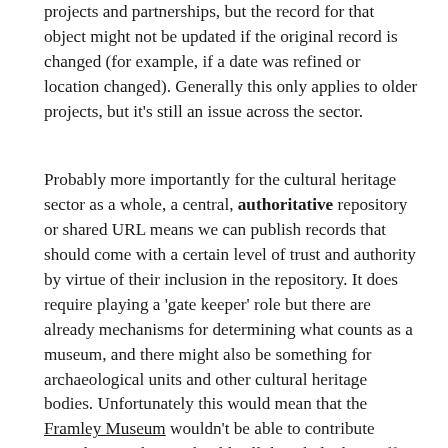projects and partnerships, but the record for that object might not be updated if the original record is changed (for example, if a date was refined or location changed). Generally this only applies to older projects, but it's still an issue across the sector.
Probably more importantly for the cultural heritage sector as a whole, a central, authoritative repository or shared URL means we can publish records that should come with a certain level of trust and authority by virtue of their inclusion in the repository. It does require playing a 'gate keeper' role but there are already mechanisms for determining what counts as a museum, and there might also be something for archaeological units and other cultural heritage bodies. Unfortunately this would mean that the Framley Museum wouldn't be able to contribute records – maybe we should call the whole thing off.